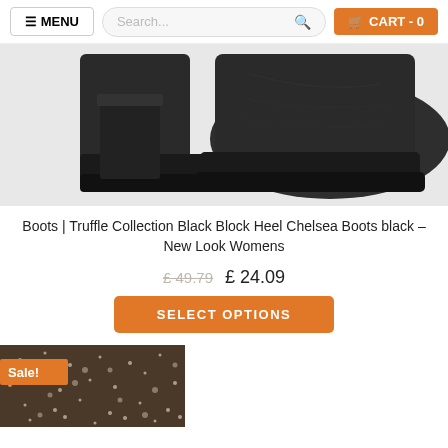≡ MENU   Search...   🛒 CART - 0
[Figure (photo): Close-up photo of black block heel Chelsea boots on a light grey background, showing the heel and platform sole detail.]
Boots | Truffle Collection Black Block Heel Chelsea Boots black – New Look Womens
£ 49.79  £ 24.09
SELECT OPTIONS
[Figure (photo): Partial view of a dark floral/speckled patterned fabric item with a Sale! badge in the top-left corner.]